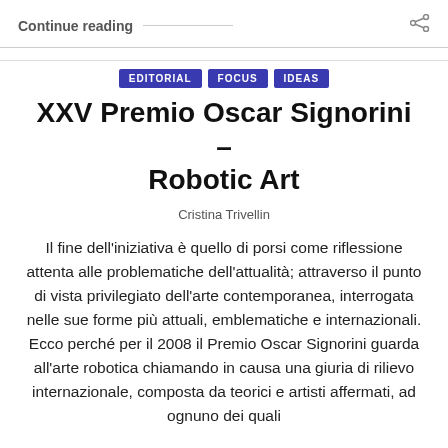Continue reading
EDITORIAL
FOCUS
IDEAS
XXV Premio Oscar Signorini – Robotic Art
Cristina Trivellin
Il fine dell'iniziativa è quello di porsi come riflessione attenta alle problematiche dell'attualità; attraverso il punto di vista privilegiato dell'arte contemporanea, interrogata nelle sue forme più attuali, emblematiche e internazionali. Ecco perché per il 2008 il Premio Oscar Signorini guarda all'arte robotica chiamando in causa una giuria di rilievo internazionale, composta da teorici e artisti affermati, ad ognuno dei quali